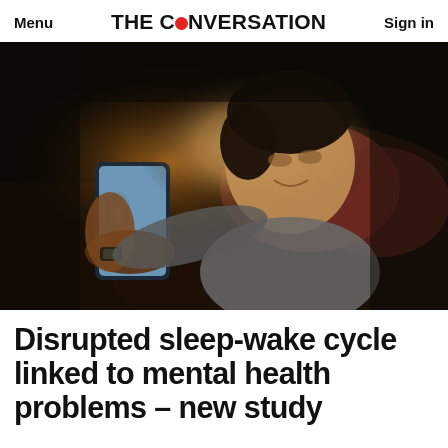Menu | THE CONVERSATION | Sign in
[Figure (photo): Young man lying on a couch in a dark room, illuminated by the glow of a smartphone he is holding and looking at. He is wearing a grey t-shirt, has a watch on his wrist, and is resting on reddish-brown pillows.]
Disrupted sleep-wake cycle linked to mental health problems – new study